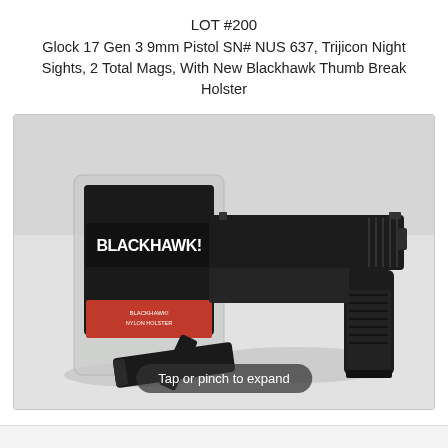LOT #200
Glock 17 Gen 3 9mm Pistol SN# NUS 637, Trijicon Night Sights, 2 Total Mags, With New Blackhawk Thumb Break Holster
[Figure (photo): Photo of a Glock 17 Gen 3 9mm pistol shown in profile on a light background, alongside a Blackhawk holster in its packaging and two magazines laid in front. A 'Tap or pinch to expand' overlay button appears at the bottom of the image.]